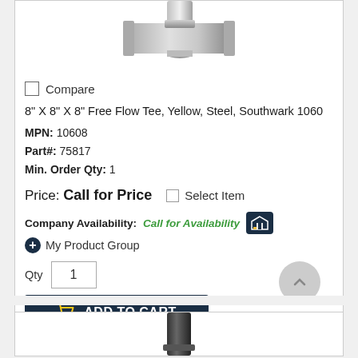[Figure (photo): Steel free flow tee fitting, metallic silver color, partially cropped at top]
Compare
8" X 8" X 8" Free Flow Tee, Yellow, Steel, Southwark 1060
MPN: 10608
Part#: 75817
Min. Order Qty: 1
Price: Call for Price  [ ] Select Item
Company Availability: Call for Availability
My Product Group
Qty  1
ADD TO CART
[Figure (photo): Bottom of second product card showing partial dark cylindrical fitting]